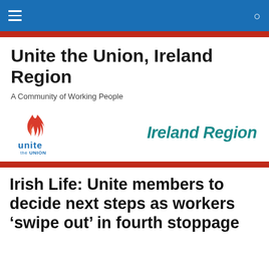Unite the Union, Ireland Region — site navigation bar
Unite the Union, Ireland Region
A Community of Working People
[Figure (logo): Unite the Union logo with flame icon on the left and 'Ireland Region' text in teal italic on the right]
Irish Life: Unite members to decide next steps as workers 'swipe out' in fourth stoppage